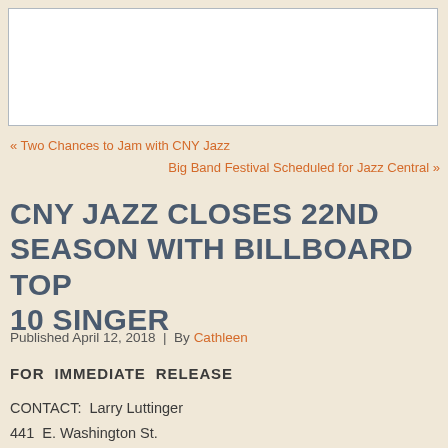[Figure (photo): White image placeholder box with light gray border]
« Two Chances to Jam with CNY Jazz
Big Band Festival Scheduled for Jazz Central »
CNY JAZZ CLOSES 22ND SEASON WITH BILLBOARD TOP 10 SINGER
Published April 12, 2018 | By Cathleen
FOR IMMEDIATE RELEASE
CONTACT: Larry Luttinger
441 E. Washington St.
Syracuse, NY 13202
315-479-5299
larry@cnyjazz.org